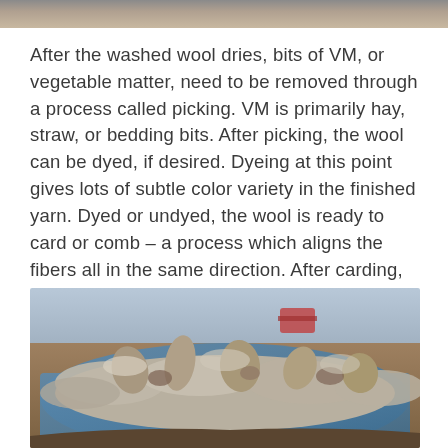[Figure (photo): Partial view of a photo at the top of the page showing animals or people outdoors]
After the washed wool dries, bits of VM, or vegetable matter, need to be removed through a process called picking. VM is primarily hay, straw, or bedding bits. After picking, the wool can be dyed, if desired. Dyeing at this point gives lots of subtle color variety in the finished yarn. Dyed or undyed, the wool is ready to card or comb – a process which aligns the fibers all in the same direction. After carding, the wool is referred to as "roving" and it is ready to spin!
[Figure (photo): Close-up photograph of raw/washed wool fleece spread out on a blue tarp or surface outdoors, showing fluffy grey-brown wool fibers with some clumps]